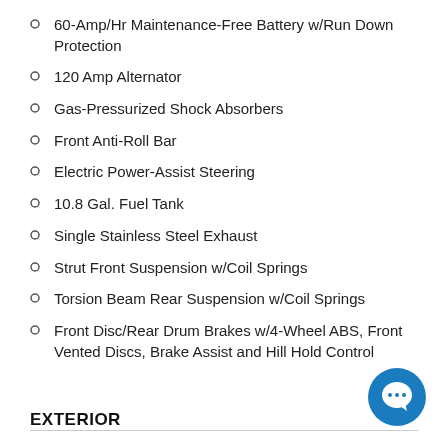60-Amp/Hr Maintenance-Free Battery w/Run Down Protection
120 Amp Alternator
Gas-Pressurized Shock Absorbers
Front Anti-Roll Bar
Electric Power-Assist Steering
10.8 Gal. Fuel Tank
Single Stainless Steel Exhaust
Strut Front Suspension w/Coil Springs
Torsion Beam Rear Suspension w/Coil Springs
Front Disc/Rear Drum Brakes w/4-Wheel ABS, Front Vented Discs, Brake Assist and Hill Hold Control
EXTERIOR